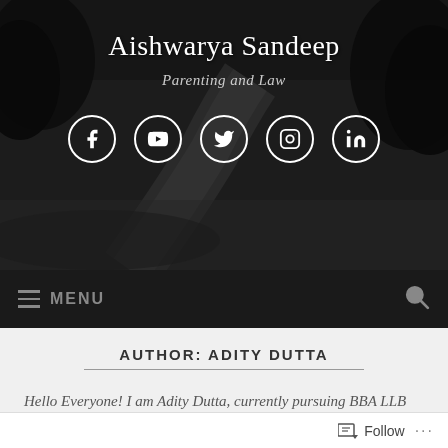[Figure (screenshot): Website header with dark background showing a winding road in black and white. Contains site title 'Aishwarya Sandeep', tagline 'Parenting and Law', and social media icons for Facebook, YouTube, Twitter, Instagram, and LinkedIn.]
Aishwarya Sandeep
Parenting and Law
MENU
AUTHOR: ADITY DUTTA
Hello Everyone! I am Adity Dutta, currently pursuing BBA LLB (Hons.) from ICFAI University, Dehradun. I